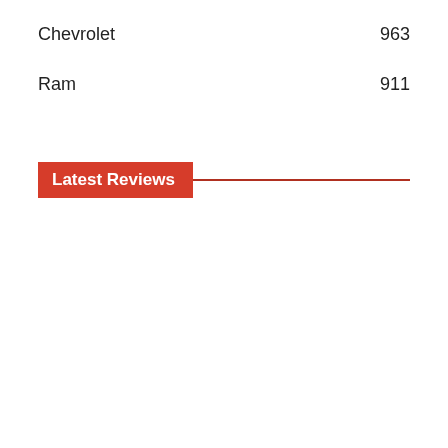Chevrolet 963
Ram 911
Latest Reviews